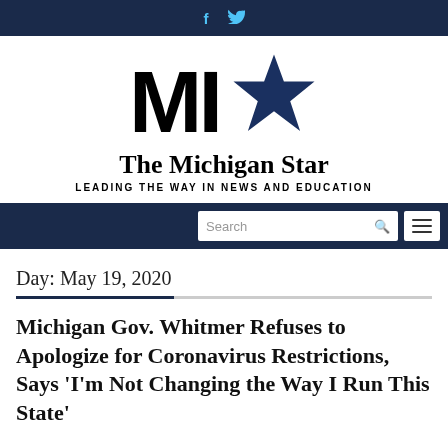f  🐦
[Figure (logo): The Michigan Star logo with bold MI text and blue star, tagline: LEADING THE WAY IN NEWS AND EDUCATION]
Search [nav bar]
Day: May 19, 2020
Michigan Gov. Whitmer Refuses to Apologize for Coronavirus Restrictions, Says 'I'm Not Changing the Way I Run This State'